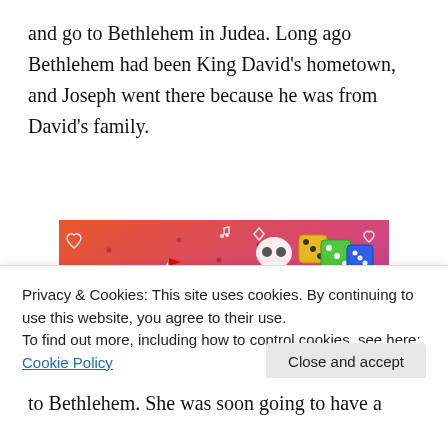and go to Bethlehem in Judea. Long ago Bethlehem had been King David's hometown, and Joseph went there because he was from David's family.
[Figure (illustration): Fandom on Tumblr promotional banner with colorful gradient background (orange to purple), featuring a sailboat, skull, dice, and various doodles with text 'FANDOM ON tumblr']
Privacy & Cookies: This site uses cookies. By continuing to use this website, you agree to their use.
To find out more, including how to control cookies, see here: Cookie Policy
to Bethlehem. She was soon going to have a